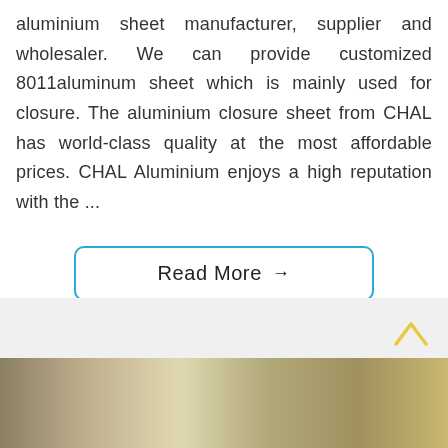aluminium sheet manufacturer, supplier and wholesaler. We can provide customized 8011aluminum sheet which is mainly used for closure. The aluminium closure sheet from CHAL has world-class quality at the most affordable prices. CHAL Aluminium enjoys a high reputation with the ...
Read More →
[Figure (photo): Bottom portion of page showing a photo of aluminium sheets/rolls and a back-to-top chevron arrow icon in the bottom right]